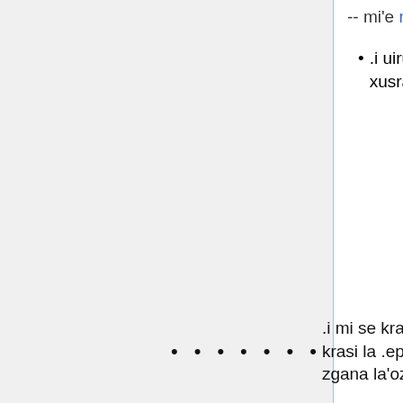-- mi'e nitcion
.i uiru'e u'iru'e .i ku'i na di'u .i do xusra lenu do xusra noda .ija'e do xusra .i mi'e .kreig.daniyl.
.i mi se krasi la kretes. noi ji'a krasi la .epimenides .i ko zgana la'ozy. [1] zy.
.i xu do se krasi la kretes. .ianai .i la kretes. cu daplu .i xu do troci